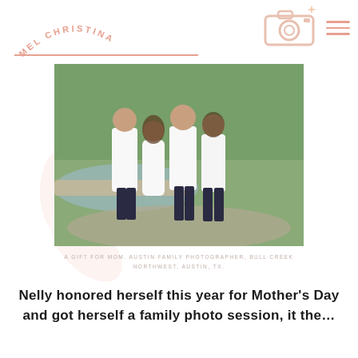MEL CHRISTINA
[Figure (photo): Family of four posing outdoors near a creek with lush green trees; two young adults and two adults wearing white tops and jeans]
A GIFT FOR MOM. AUSTIN FAMILY PHOTOGRAPHER, BULL CREEK NORTHWEST, AUSTIN, TX.
Nelly honored herself this year for Mother's Day and got herself a family photo session, it the…